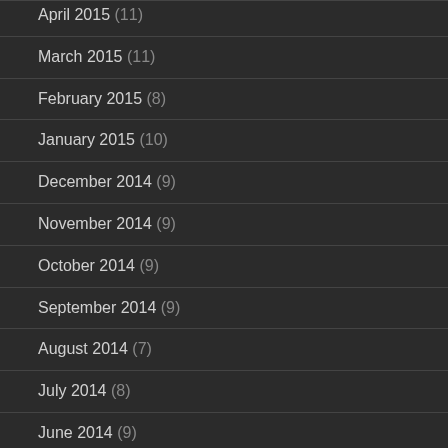April 2015 (11)
March 2015 (11)
February 2015 (8)
January 2015 (10)
December 2014 (9)
November 2014 (9)
October 2014 (9)
September 2014 (9)
August 2014 (7)
July 2014 (8)
June 2014 (9)
May 2014 (8)